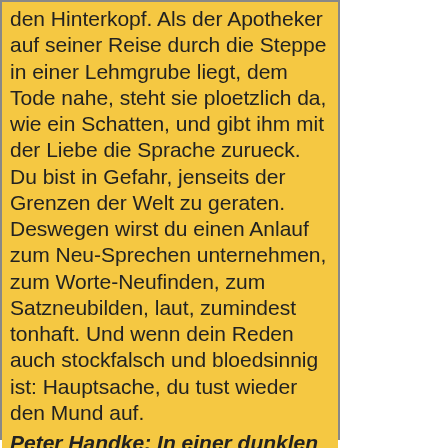den Hinterkopf. Als der Apotheker auf seiner Reise durch die Steppe in einer Lehmgrube liegt, dem Tode nahe, steht sie ploetzlich da, wie ein Schatten, und gibt ihm mit der Liebe die Sprache zurueck. Du bist in Gefahr, jenseits der Grenzen der Welt zu geraten. Deswegen wirst du einen Anlauf zum Neu-Sprechen unternehmen, zum Worte-Neufinden, zum Satzneubilden, laut, zumindest tonhaft. Und wenn dein Reden auch stockfalsch und bloedsinnig ist: Hauptsache, du tust wieder den Mund auf.
Peter Handke: In einer dunklen Nacht ging ich aus meinem stillen Haus. Roman. Suhrkamp-Verlag, Frankfurt am Main 1997. 320 S., 44.50 Fr.
[Figure (other): A 'zurück' (back) navigation button image]